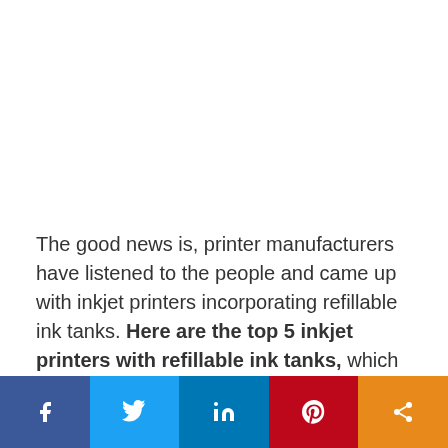The good news is, printer manufacturers have listened to the people and came up with inkjet printers incorporating refillable ink tanks. Here are the top 5 inkjet printers with refillable ink tanks, which will save you more money in the long run.
[Figure (infographic): Social sharing bar with five buttons: Facebook (dark blue), Twitter (light blue), LinkedIn (medium blue), Pinterest (red), Share (orange)]